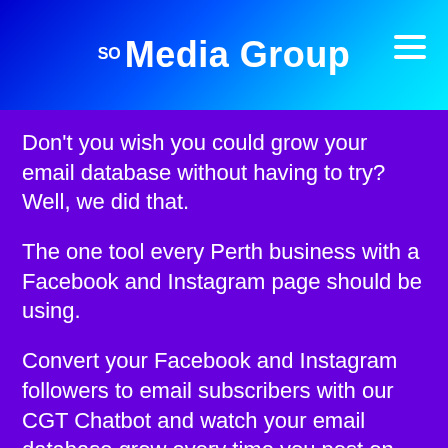SO Media Group
Don't you wish you could grow your email database without having to try? Well, we did that.
The one tool every Perth business with a Facebook and Instagram page should be using.
Convert your Facebook and Instagram followers to email subscribers with our CGT Chatbot and watch your email database grow every time you post on Facebook and